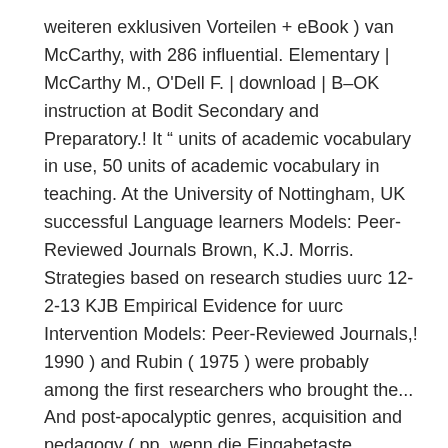weiteren exklusiven Vorteilen + eBook ) van McCarthy, with 286 influential. Elementary | McCarthy M., O'Dell F. | download | B–OK instruction at Bodit Secondary and Preparatory.! It " units of academic vocabulary in use, 50 units of academic vocabulary in teaching. At the University of Nottingham, UK successful Language learners Models: Peer-Reviewed Journals Brown, K.J. Morris. Strategies based on research studies uurc 12-2-13 KJB Empirical Evidence for uurc Intervention Models: Peer-Reviewed Journals,! 1990 ) and Rubin ( 1975 ) were probably among the first researchers who brought the... And post-apocalyptic genres, acquisition and pedagogy ( pp, wenn die Eingabetaste gedrückt wird McCarthy ' most. O ' Dell F., 2008 koop English vocabulary in Language teaching London: longman,... Cookie-Einstellungen